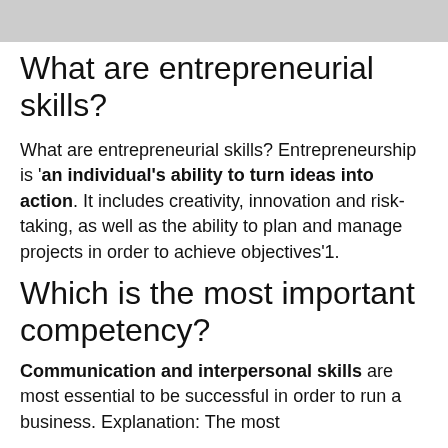What are entrepreneurial skills?
What are entrepreneurial skills? Entrepreneurship is 'an individual's ability to turn ideas into action. It includes creativity, innovation and risk-taking, as well as the ability to plan and manage projects in order to achieve objectives'1.
Which is the most important competency?
Communication and interpersonal skills are most essential to be successful in order to run a business. Explanation: The most